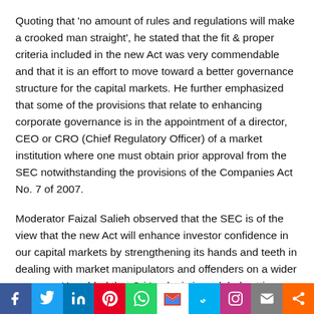Quoting that 'no amount of rules and regulations will make a crooked man straight', he stated that the fit & proper criteria included in the new Act was very commendable and that it is an effort to move toward a better governance structure for the capital markets. He further emphasized that some of the provisions that relate to enhancing corporate governance is in the appointment of a director, CEO or CRO (Chief Regulatory Officer) of a market institution where one must obtain prior approval from the SEC notwithstanding the provisions of the Companies Act No. 7 of 2007.
Moderator Faizal Salieh observed that the SEC is of the view that the new Act will enhance investor confidence in our capital markets by strengthening its hands and teeth in dealing with market manipulators and offenders on a wider canvass. He added that Sri Lanka is in a global setting where market manipulations and offences are beginning to see
[Figure (infographic): Social media sharing toolbar with icons: Facebook, Twitter, LinkedIn, Pinterest, WhatsApp, Gmail, Skype, Instagram, Email, Share]